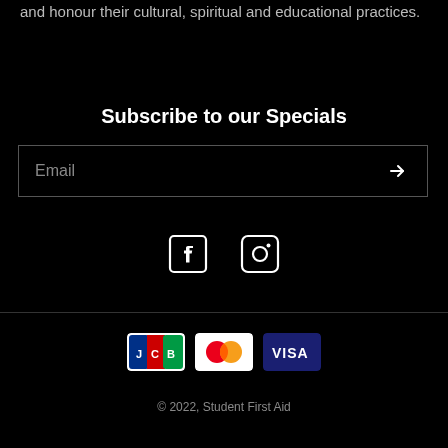and honour their cultural, spiritual and educational practices.
Subscribe to our Specials
Email [input field with arrow button]
[Figure (infographic): Facebook and Instagram social media icons in white on black background]
[Figure (infographic): Payment method icons: JCB, Mastercard, Visa]
© 2022, Student First Aid